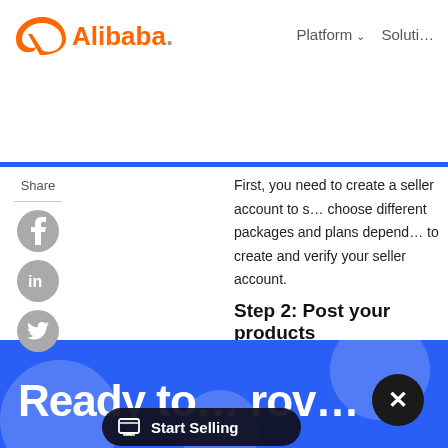[Figure (logo): Alibaba.com logo with orange stylized 'a' icon and 'Alibaba.com' text in orange]
Platform ∨   Soluti…
First, you need to create a seller account to s… choose different packages and plans depend… to create and verify your seller account.
Share
[Figure (illustration): Facebook share icon - grey circle with white 'f']
[Figure (illustration): LinkedIn share icon - grey circle with white 'in']
[Figure (illustration): Twitter share icon - grey circle with white bird]
Step 2: Post your products
Once you're done creating your account and … It's a good idea to… res t… brand. You can p… idual…
[Figure (screenshot): Floating popup buttons overlay: 'Start Selling' and 'Customer Service' dark pill buttons on blue CTA band]
Ready to … rov…